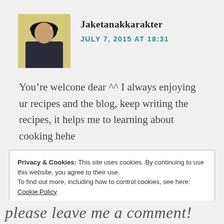Jaketanakkarakter
JULY 7, 2015 AT 18:31
You’re welcone dear ^^ I always enjoying ur recipes and the blog, keep writing the recipes, it helps me to learning about cooking hehe
Privacy & Cookies: This site uses cookies. By continuing to use this website, you agree to their use.
To find out more, including how to control cookies, see here: Cookie Policy
Close and accept
please leave me a comment!